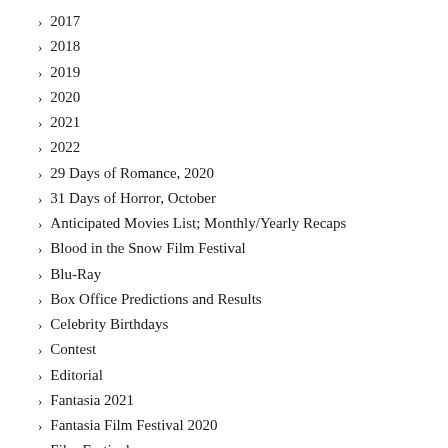2017
2018
2019
2020
2021
2022
29 Days of Romance, 2020
31 Days of Horror, October
Anticipated Movies List; Monthly/Yearly Recaps
Blood in the Snow Film Festival
Blu-Ray
Box Office Predictions and Results
Celebrity Birthdays
Contest
Editorial
Fantasia 2021
Fantasia Film Festival 2020
Film Festival
Giveaway
Interviews
News